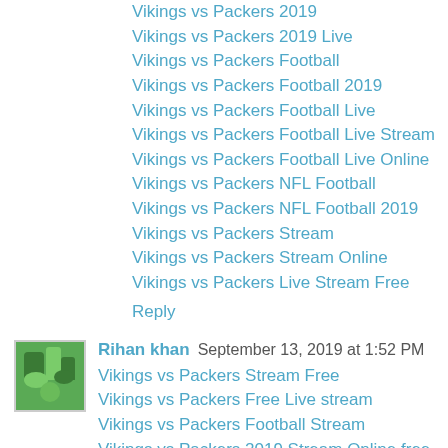Vikings vs Packers 2019
Vikings vs Packers 2019 Live
Vikings vs Packers Football
Vikings vs Packers Football 2019
Vikings vs Packers Football Live
Vikings vs Packers Football Live Stream
Vikings vs Packers Football Live Online
Vikings vs Packers NFL Football
Vikings vs Packers NFL Football 2019
Vikings vs Packers Stream
Vikings vs Packers Stream Online
Vikings vs Packers Live Stream Free
Reply
Rihan khan  September 13, 2019 at 1:52 PM
Vikings vs Packers Stream Free
Vikings vs Packers Free Live stream
Vikings vs Packers Football Stream
Vikings vs Packers 2019 Stream Online free
Vikings vs Packers WEEK 2 NFL Football 2019
Vikings vs Packers WEEK 2